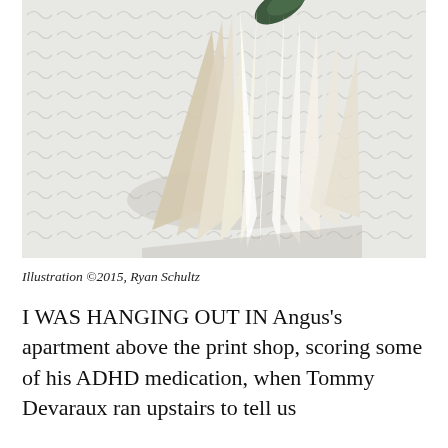[Figure (illustration): Illustration of paper airplanes or folded paper forms in white and cream tones fanned out, with a dark green element at the top, set against a light grey patterned background with abstract wave/script motifs.]
Illustration ©2015, Ryan Schultz
I WAS HANGING OUT IN Angus's apartment above the print shop, scoring some of his ADHD medication, when Tommy Devaraux ran upstairs to tell us